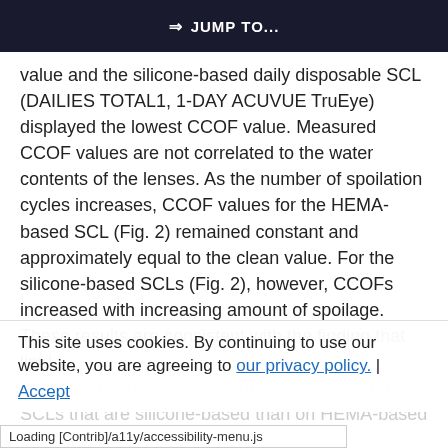⇒ JUMP TO...
value and the silicone-based daily disposable SCL (DAILIES TOTAL1, 1-DAY ACUVUE TruEye) displayed the lowest CCOF value. Measured CCOF values are not correlated to the water contents of the lenses. As the number of spoilation cycles increases, CCOF values for the HEMA-based SCL (Fig. 2) remained constant and approximately equal to the clean value. For the silicone-based SCLs (Fig. 2), however, CCOFs increased with increasing amount of spoilage. These results are consistent with the finding that lipid deposition during wear is more pronounced on SCLs that are silicone-based than on HEMA-based lenses
This site uses cookies. By continuing to use our website, you are agreeing to our privacy policy.
Accept
Loading [Contrib]/a11y/accessibility-menu.js